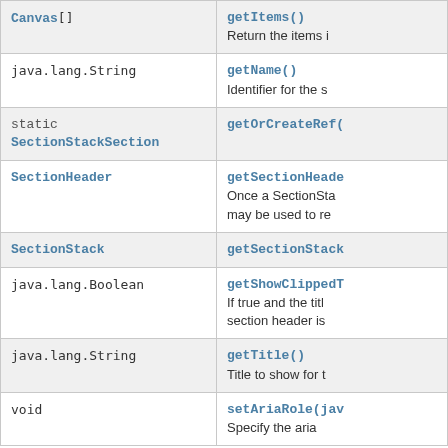| Type | Method |
| --- | --- |
| Canvas[] | getItems()
Return the items i |
| java.lang.String | getName()
Identifier for the s |
| static SectionStackSection | getOrCreateRef( |
| SectionHeader | getSectionHeade
Once a SectionSta may be used to re |
| SectionStack | getSectionStack |
| java.lang.Boolean | getShowClippedT
If true and the titl section header is |
| java.lang.String | getTitle()
Title to show for t |
| void | setAriaRole(jav
Specify the aria |